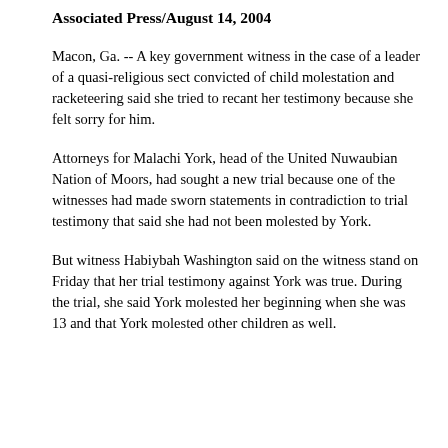Associated Press/August 14, 2004
Macon, Ga. -- A key government witness in the case of a leader of a quasi-religious sect convicted of child molestation and racketeering said she tried to recant her testimony because she felt sorry for him.
Attorneys for Malachi York, head of the United Nuwaubian Nation of Moors, had sought a new trial because one of the witnesses had made sworn statements in contradiction to trial testimony that said she had not been molested by York.
But witness Habiybah Washington said on the witness stand on Friday that her trial testimony against York was true. During the trial, she said York molested her beginning when she was 13 and that York molested other children as well.